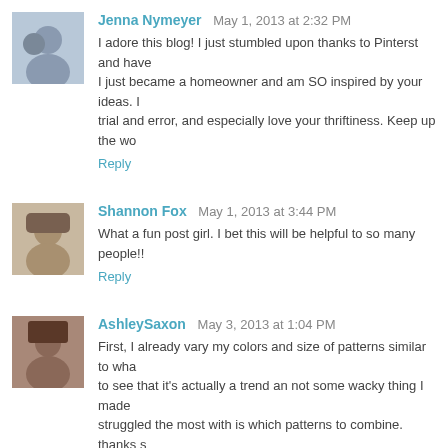Jenna Nymeyer  May 1, 2013 at 2:32 PM
I adore this blog! I just stumbled upon thanks to Pinterst and have I just became a homeowner and am SO inspired by your ideas. trial and error, and especially love your thriftiness. Keep up the wo
Reply
Shannon Fox  May 1, 2013 at 3:44 PM
What a fun post girl. I bet this will be helpful to so many people!!
Reply
AshleySaxon  May 3, 2013 at 1:04 PM
First, I already vary my colors and size of patterns similar to wha to see that it's actually a trend an not some wacky thing I made struggled the most with is which patterns to combine. thanks s been wanting a new look for the guest room and I had one or eve out a third :)
Reply
Anonymous  May 8, 2013 at 6:59 PM